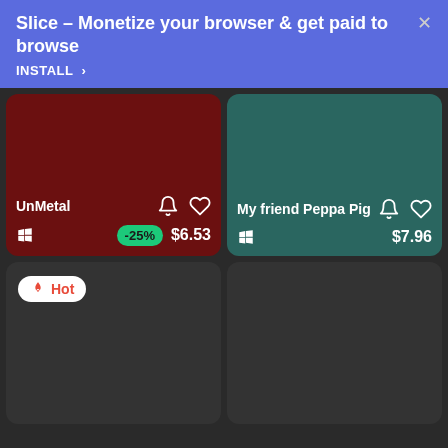[Figure (screenshot): App install banner for 'Slice - Monetize your browser & get paid to browse' with INSTALL button and close X]
[Figure (screenshot): Game card for 'UnMetal' on dark red background, showing -25% discount badge and $6.53 price, Windows platform icon, bell and heart icons]
[Figure (screenshot): Game card for 'My friend Peppa Pig' on teal background, showing $7.96 price, Windows platform icon, bell and heart icons]
[Figure (screenshot): Game card with 'Hot' badge on dark background, lower left card]
[Figure (screenshot): Empty dark game card, lower right]